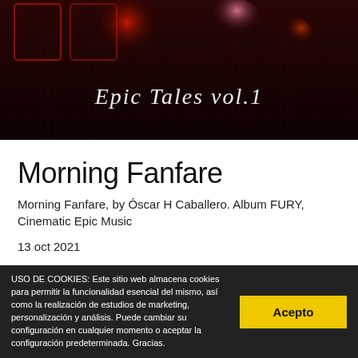[Figure (photo): Album cover for 'Epic Tales vol.1' showing glowing red and pink abstract figures on a dark background with vertical light streaks. White text reads 'Epic Tales vol.1' in center.]
Morning Fanfare
Morning Fanfare, by Óscar H Caballero. Album FURY, Cinematic Epic Music
13 oct 2021
Epic Music :: FURY – Cinematic Epic Music Vol 1
USO DE COOKIES: Este sitio web almacena cookies para permitir la funcionalidad esencial del mismo, así como la realización de estudios de marketing, personalización y análisis. Puede cambiar su configuración en cualquier momento o aceptar la configuración predeterminada. Gracias.